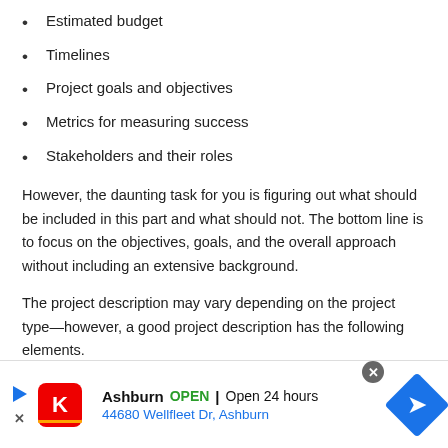Estimated budget
Timelines
Project goals and objectives
Metrics for measuring success
Stakeholders and their roles
However, the daunting task for you is figuring out what should be included in this part and what should not. The bottom line is to focus on the objectives, goals, and the overall approach without including an extensive background.
The project description may vary depending on the project type—however, a good project description has the following elements.
[Figure (other): Partial view of a content box or table at the bottom of the article area]
[Figure (other): Advertisement banner: Ashburn OPEN | Open 24 hours, 44680 Wellfleet Dr, Ashburn, with KFC logo and navigation icon]